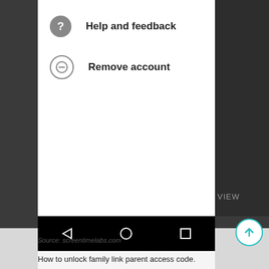[Figure (screenshot): Android smartphone screenshot showing a dropdown menu with 'Help and feedback' and 'Remove account' options over a dark background photo, with Android navigation bar at bottom.]
Help and feedback
Remove account
Source: screentimelabs.com
How to unlock family link parent access code.